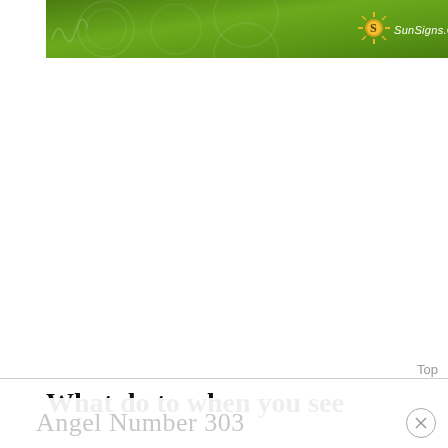[Figure (logo): SunSigns.Org website banner with green floral/decorative background and gold sun logo with text SunSigns.Org in white italic]
Top
What do to when you see
Angel Number 303